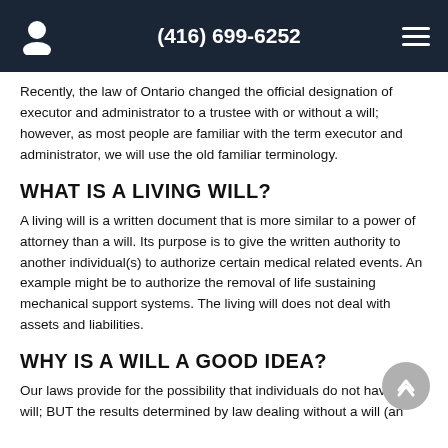(416) 699-6252
Recently, the law of Ontario changed the official designation of executor and administrator to a trustee with or without a will; however, as most people are familiar with the term executor and administrator, we will use the old familiar terminology.
WHAT IS A LIVING WILL?
A living will is a written document that is more similar to a power of attorney than a will. Its purpose is to give the written authority to another individual(s) to authorize certain medical related events. An example might be to authorize the removal of life sustaining mechanical support systems. The living will does not deal with assets and liabilities.
WHY IS A WILL A GOOD IDEA?
Our laws provide for the possibility that individuals do not have a will; BUT the results determined by law dealing without a will (an